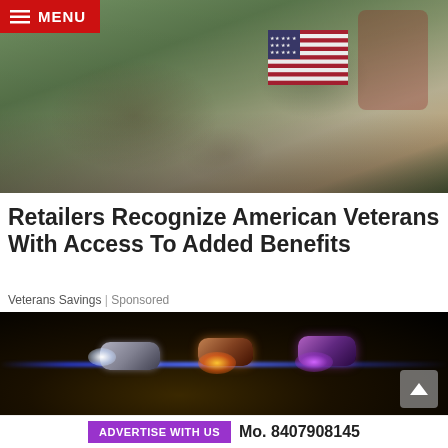[Figure (photo): Military person in camouflage uniform holding an American flag, with a person in red plaid clothing hugging them, green foliage in background]
MENU
Retailers Recognize American Veterans With Access To Added Benefits
Veterans Savings | Sponsored
[Figure (photo): Close-up of three small flashlights or LED lights with blue, orange/red, and purple glowing light beams against a dark background]
ADVERTISE WITH US  Mo. 8407908145